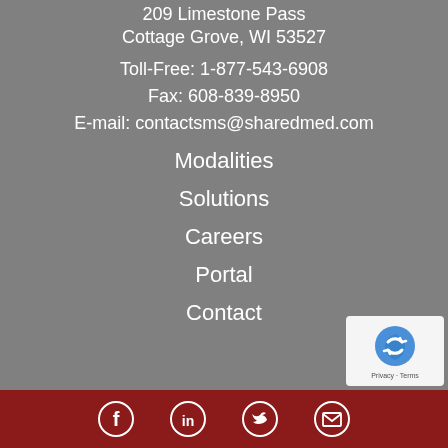209 Limestone Pass
Cottage Grove, WI 53527
Toll-Free: 1-877-543-6908
Fax: 608-839-8950
E-mail: contactsms@sharedmed.com
Modalities
Solutions
Careers
Portal
Contact
[Figure (logo): reCAPTCHA badge with shield/arrow logo and Privacy - Terms text]
Social media icons: Facebook, LinkedIn, Twitter, Email